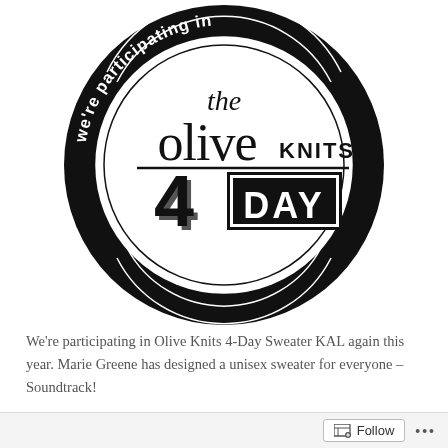[Figure (logo): Circular black and white badge logo reading 'we're participating in the olive KNITS 4 DAY knit along']
We're participating in Olive Knits 4-Day Sweater KAL again this year. Marie Greene has designed a unisex sweater for everyone – Soundtrack!
[Figure (photo): Partial photo strip showing pink blossoms on the left and dark wood siding texture on the right]
Follow ...